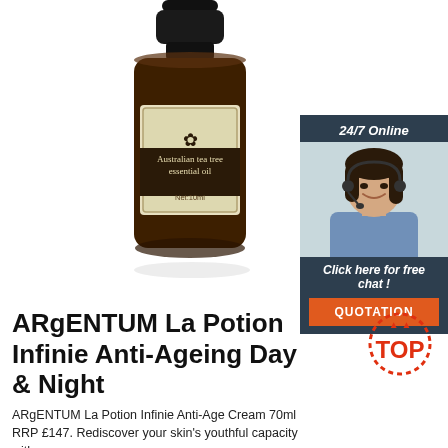[Figure (photo): Amber glass bottle of Australian tea tree essential oil (10ml) with black cap and beige label featuring a fleur-de-lis ornament]
[Figure (infographic): Chat widget advertisement: '24/7 Online' header in dark blue, photo of smiling woman with headset, 'Click here for free chat!' text in dark blue box, orange QUOTATION button]
ARgENTUM La Potion Infinie Anti-Ageing Day & Night
[Figure (logo): TOP logo: red dotted circle with 'TOP' in red text and small upward arrows]
ARgENTUM La Potion Infinie Anti-Age Cream 70ml RRP £147. Rediscover your skin's youthful capacity with